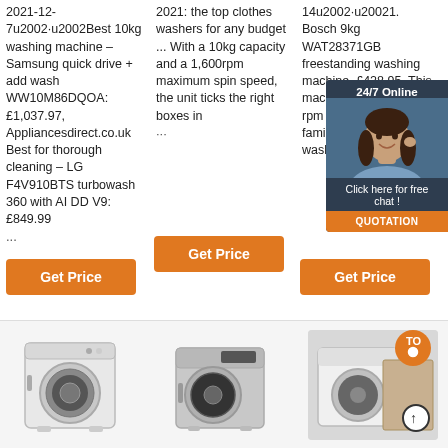2021-12-7u2002·u2002Best 10kg washing machine – Samsung quick drive + add wash WW10M86DQOA: £1,037.97, Appliancesdirect.co.uk Best for thorough cleaning – LG F4V910BTS turbowash 360 with AI DD V9: £849.99 ...
2021: the top clothes washers for any budget ... With a 10kg capacity and a 1,600rpm maximum spin speed, the unit ticks the right boxes in ...
14u2002·u20021. Bosch 9kg WAT28371GB freestanding washing machine. £428.95, This machine gigantic, 1400 rpm would be suited to families w amounts washing ...
[Figure (other): 24/7 Online chat widget with customer service representative photo, 'Click here for free chat!' text, and QUOTATION button]
Get Price (column 1 button)
Get Price (column 2 button)
Get Price (column 3 button)
[Figure (photo): White front-loading washing machine product image]
[Figure (photo): Silver/grey front-loading washing machine product image]
[Figure (photo): White washing machine with orange badge overlay and arrow up icon]